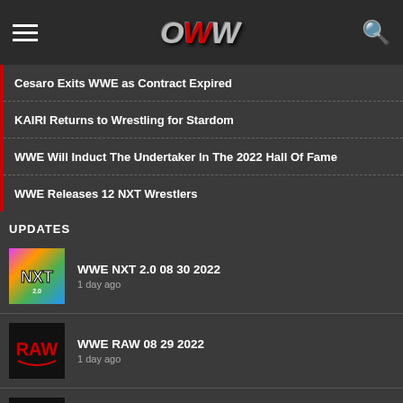OWW
Cesaro Exits WWE as Contract Expired
KAIRI Returns to Wrestling for Stardom
WWE Will Induct The Undertaker In The 2022 Hall Of Fame
WWE Releases 12 NXT Wrestlers
UPDATES
WWE NXT 2.0 08 30 2022
1 day ago
WWE RAW 08 29 2022
1 day ago
AEW Rampage 08 26 2022
5 days ago